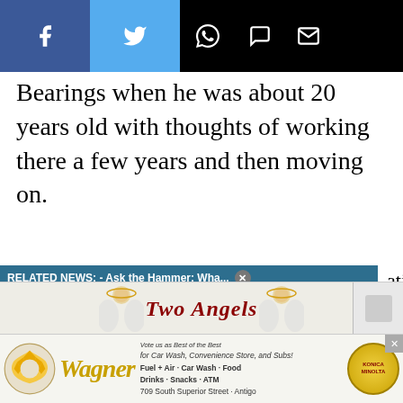[Figure (screenshot): Social media share bar with Facebook (blue), Twitter (light blue), WhatsApp, message, and email icons on black background]
Bearings when he was about 20 years old with thoughts of working there a few years and then moving on.
RELATED NEWS: - Ask the Hammer: Wha...
ation up, sending It was an excellent
[Figure (photo): Person pressing buttons on an ATM keypad, with a mute button overlay (orange circle with speaker icon). Partial advertisement visible on right showing 'us for Best!' in brown/gold tones.]
[Figure (photo): Two Angels advertisement banner with decorative text in dark red cursive]
[Figure (advertisement): Wagner Shell station advertisement: Shell logo, Wagner cursive text, 'Vote us as Best of the Best for Car Wash, Convenience Store, and Subs! Fuel + Air + Car Wash + Food Drinks + Snacks + ATM 709 South Superior Street + Antigo' with Konica Minolta style circular logo]